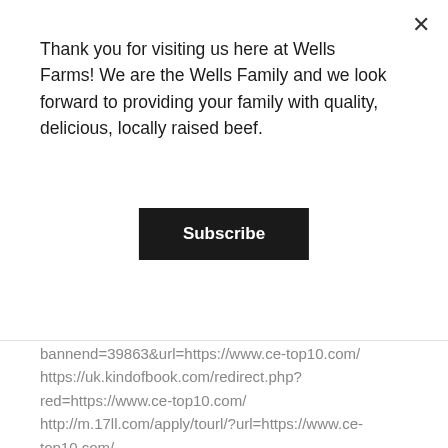Thank you for visiting us here at Wells Farms! We are the Wells Family and we look forward to providing your family with quality, delicious, locally raised beef.
Subscribe
bannend=39863&url=https://www.ce-top10.com/ https://uk.kindofbook.com/redirect.php?red=https://www.ce-top10.com/ http://m.17ll.com/apply/tourl/?url=https://www.ce-top10.com/ http://kreepost.com/go/?https://www.ce-top10.com/ https://www.matchesfashion.com/us/affiliate?url=https://www.ce-top10.com/ https://track.effiliation.com/servlet/effi.redir?id_compteur=13215059&url=https://www.ce-top10.com/ http://ms1.caps.ntct.edu.tw/school/netlink/hits.php?id=107&url=https://www.ce-top10.com/